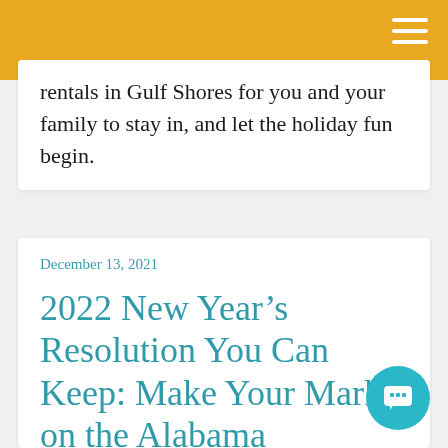rentals in Gulf Shores for you and your family to stay in, and let the holiday fun begin.
December 13, 2021
2022 New Year’s Resolution You Can Keep: Make Your Mark on the Alabama